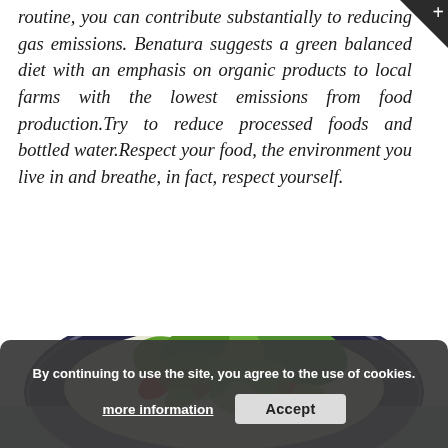routine, you can contribute substantially to reducing gas emissions. Benatura suggests a green balanced diet with an emphasis on organic products to local farms with the lowest emissions from food production.Try to reduce processed foods and bottled water.Respect your food, the environment you live in and breathe, in fact, respect yourself.
[Figure (photo): A dark bowl or plate filled with fresh green salad leaves, red pepper pieces, and other vegetables — a colorful healthy food photo]
By continuing to use the site, you agree to the use of cookies.
more information
Accept